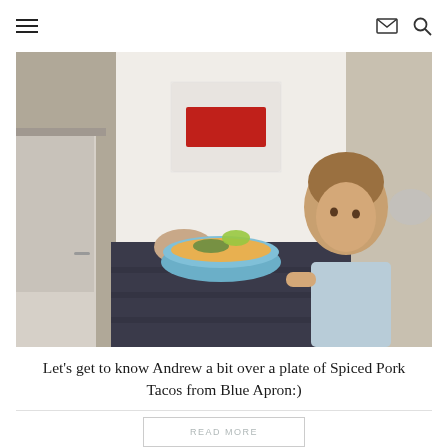Navigation menu, email icon, search icon
[Figure (photo): A person holding a blue bowl of spiced pork taco filling with lime garnish, with a young child hugging their leg in a kitchen setting.]
Let's get to know Andrew a bit over a plate of Spiced Pork Tacos from Blue Apron:)
READ MORE